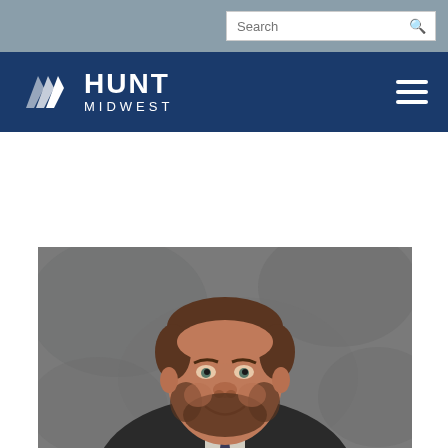Search bar with search icon
[Figure (logo): Hunt Midwest logo with stylized chevron/arrow icon in white and the text HUNT MIDWEST in white on a dark navy blue navigation bar, with a hamburger menu icon on the right]
[Figure (photo): Professional headshot of a middle-aged man with brown hair and a beard, wearing a suit, photographed against a gray mottled studio background]